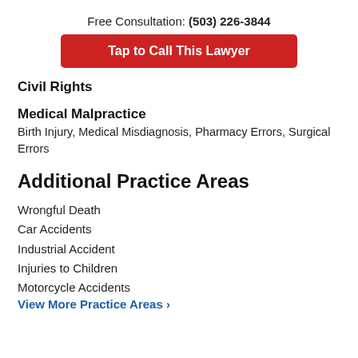Free Consultation: (503) 226-3844
Tap to Call This Lawyer
Civil Rights
Medical Malpractice
Birth Injury, Medical Misdiagnosis, Pharmacy Errors, Surgical Errors
Additional Practice Areas
Wrongful Death
Car Accidents
Industrial Accident
Injuries to Children
Motorcycle Accidents
View More Practice Areas ›